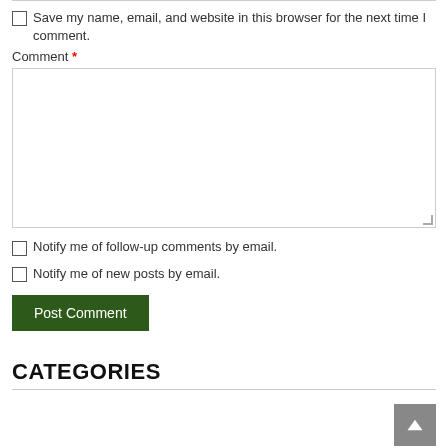Save my name, email, and website in this browser for the next time I comment.
Comment *
Notify me of follow-up comments by email.
Notify me of new posts by email.
Post Comment
CATEGORIES